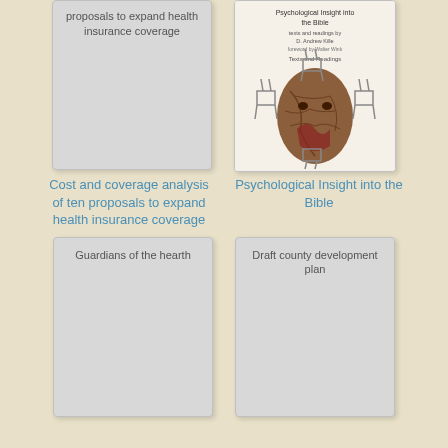[Figure (illustration): Book card showing top of cover with text about proposals to expand health insurance coverage, gray placeholder]
[Figure (illustration): Book cover for Psychological Insight into the Bible showing a face illustration with chairs]
Cost and coverage analysis of ten proposals to expand health insurance coverage
Psychological Insight into the Bible
[Figure (illustration): Book card placeholder for Guardians of the hearth, gray cover]
[Figure (illustration): Book card placeholder for Draft county development plan, gray cover]
Guardians of the hearth
Draft county development plan